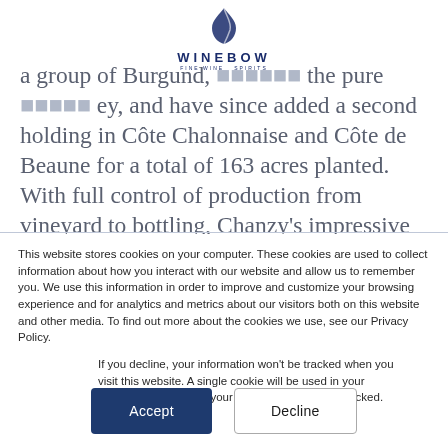WINEBOW
a group of Burgund, … the pure … ey, and have since added a second holding in Côte Chalonnaise and Côte de Beaune for a total of 163 acres planted. With full control of production from vineyard to bottling, Chanzy's impressive range spans 40 appellations in 8 villages of Côte Chalonnaise and Côte d'Or.
This website stores cookies on your computer. These cookies are used to collect information about how you interact with our website and allow us to remember you. We use this information in order to improve and customize your browsing experience and for analytics and metrics about our visitors both on this website and other media. To find out more about the cookies we use, see our Privacy Policy.
If you decline, your information won't be tracked when you visit this website. A single cookie will be used in your browser to remember your preference not to be tracked.
Accept
Decline